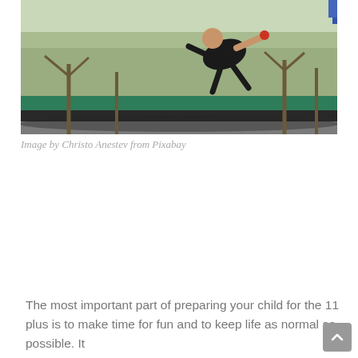[Figure (photo): A person performing a flip or jump on a trampoline outdoors. Trees visible in the background. The trampoline has a green border. The person is wearing a dark shirt.]
Image by Christo Anestev from Pixabay
The most important part of preparing your child for the 11 plus is to make time for fun and to keep life as normal as possible. It